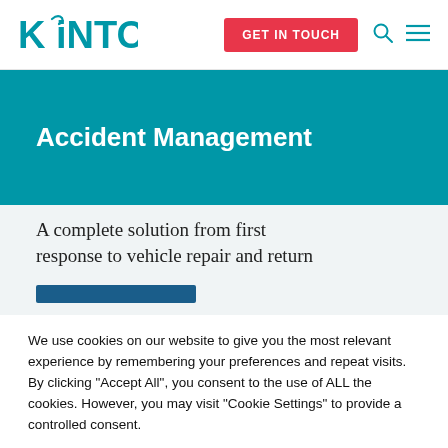[Figure (logo): KINTO logo in teal/cyan color with decorative swirl on the K]
GET IN TOUCH
Accident Management
A complete solution from first response to vehicle repair and return
We use cookies on our website to give you the most relevant experience by remembering your preferences and repeat visits. By clicking "Accept All", you consent to the use of ALL the cookies. However, you may visit "Cookie Settings" to provide a controlled consent.
Cookie Settings
Accept All